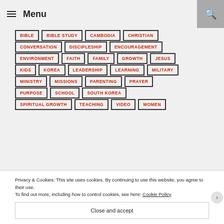Menu
BIBLE
BIBLE STUDY
CAMBODIA
CHRISTIAN
CONVERSATION
DISCIPLESHIP
ENCOURAGEMENT
ENVIRONMENT
FAITH
FAMILY
GROWTH
JESUS
KIDS
KOREA
LEADERSHIP
LEARNING
MILITARY
MINISTRY
MISSIONS
PARENTING
PRAYER
PURPOSE
SCHOOL
SOUTH KOREA
SPIRITUAL GROWTH
TEACHING
VIDEO
WOMEN
Privacy & Cookies: This site uses cookies. By continuing to use this website, you agree to their use.
To find out more, including how to control cookies, see here: Cookie Policy
Close and accept